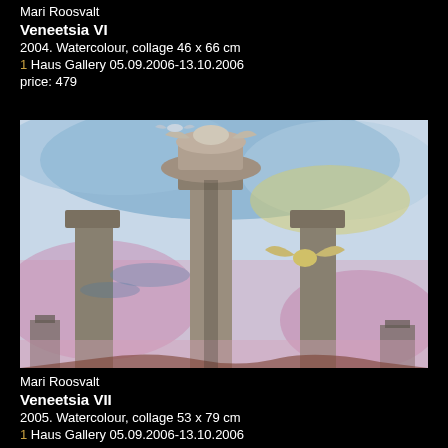Mari Roosvalt
Veneetsia VI
2004. Watercolour, collage 46 x 66 cm
1 Haus Gallery 05.09.2006-13.10.2006
price: 479
[Figure (photo): Watercolour and collage artwork showing Venice-like architectural columns and structures with winged figures against a blue and pink sky, characteristic of Mari Roosvalt's Venice series]
Mari Roosvalt
Veneetsia VII
2005. Watercolour, collage 53 x 79 cm
1 Haus Gallery 05.09.2006-13.10.2006